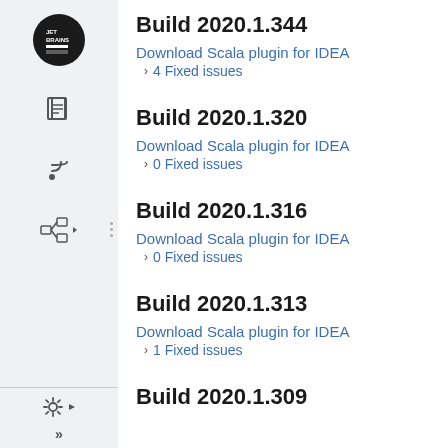Build 2020.1.344
Download Scala plugin for IDEA
> 4 Fixed issues
Build 2020.1.320
Download Scala plugin for IDEA
> 0 Fixed issues
Build 2020.1.316
Download Scala plugin for IDEA
> 0 Fixed issues
Build 2020.1.313
Download Scala plugin for IDEA
> 1 Fixed issues
Build 2020.1.309